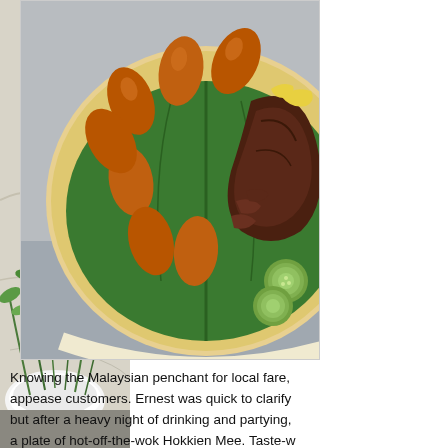[Figure (photo): Left side partial photo showing green herbs/vegetables in a white bowl on a light surface, partially cropped]
[Figure (photo): Food photo on a wooden plate lined with banana leaf, showing fried chicken pieces, potato wedges/croquettes, and cucumber slices]
Knowing the Malaysian penchant for local fare, appease customers. Ernest was quick to clarify but after a heavy night of drinking and partying, a plate of hot-off-the-wok Hokkien Mee. Taste-w